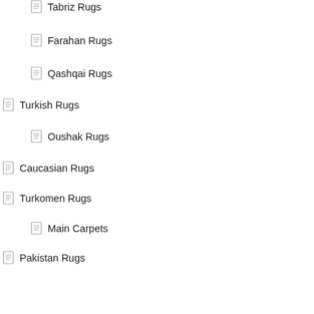Tabriz Rugs
Farahan Rugs
Qashqai Rugs
Turkish Rugs
Oushak Rugs
Caucasian Rugs
Turkomen Rugs
Main Carpets
Pakistan Rugs
Bijar
Bukhara Rugs
Farahan Rugs
Mughal Rugs
Sultanabad Rugs
Usak Rugs
Khotan Rugs